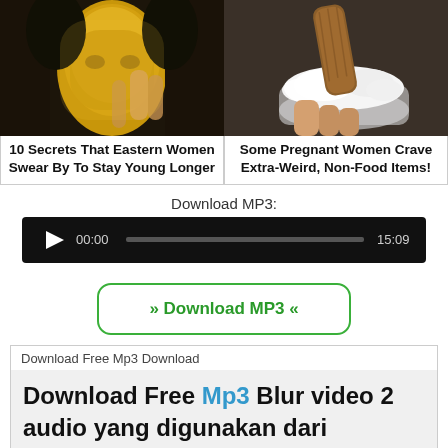[Figure (photo): Photo of a woman with a gold face mask touching her face]
10 Secrets That Eastern Women Swear By To Stay Young Longer
[Figure (photo): Photo of a churro or pastry dipped in cream/whipped topping in a glass bowl]
Some Pregnant Women Crave Extra-Weird, Non-Food Items!
Download MP3:
[Figure (other): Audio player bar with play button, time 00:00, progress bar, and duration 15:09 on black background]
» Download MP3 «
Download Free Mp3 Download
Download Free Mp3 Blur video 2 audio yang digunakan dari youtube studio - the inner sound